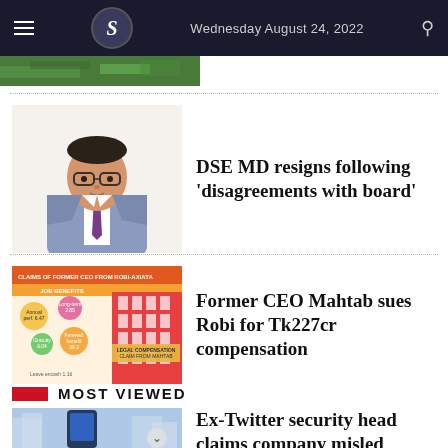Wednesday August 24, 2022
[Figure (photo): Partial top image strip showing a green outdoor scene]
[Figure (illustration): Illustrated portrait of a man in a suit and tie wearing glasses — DSE MD]
DSE MD resigns following 'disagreements with board'
[Figure (infographic): Claims of former CEO from Robi-Axiata infographic with a building photo and benefit details including annual performance benefits 6.47, long-term incentive 2.85, gratuity 6.04, farewell benefits detail 39.3, leave encashment 1.16, legal compensation claim from Mahtab]
Former CEO Mahtab sues Robi for Tk227cr compensation
MOST VIEWED
[Figure (photo): Photo of a mobile phone with blurred city buildings in background]
Ex-Twitter security head claims company misled